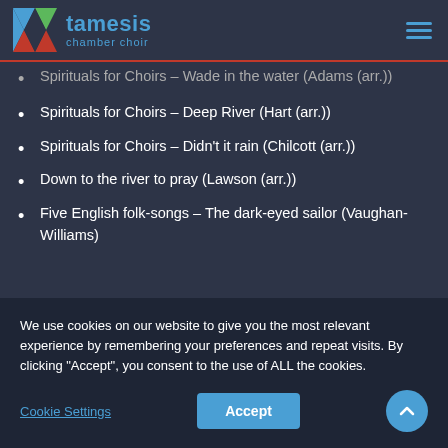tamesis chamber choir
Spirituals for Choirs – Wade in the water (Adams (arr.))
Spirituals for Choirs – Deep River (Hart (arr.))
Spirituals for Choirs – Didn't it rain (Chilcott (arr.))
Down to the river to pray (Lawson (arr.))
Five English folk-songs – The dark-eyed sailor (Vaughan-Williams)
We use cookies on our website to give you the most relevant experience by remembering your preferences and repeat visits. By clicking "Accept", you consent to the use of ALL the cookies.